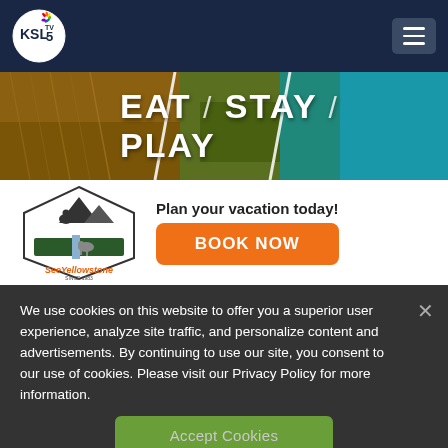[Figure (logo): KSL TV 5 NBC affiliate logo — white circle with KSL text and NBC peacock, on dark navy header]
[Figure (screenshot): See Yellowstone advertisement banner with 'EAT / STAY / PLAY' text over nature imagery, See Yellowstone logo, and orange 'BOOK NOW' button with 'Plan your vacation today!' text]
We use cookies on this website to offer you a superior user experience, analyze site traffic, and personalize content and advertisements. By continuing to use our site, you consent to our use of cookies. Please visit our Privacy Policy for more information.
Accept Cookies